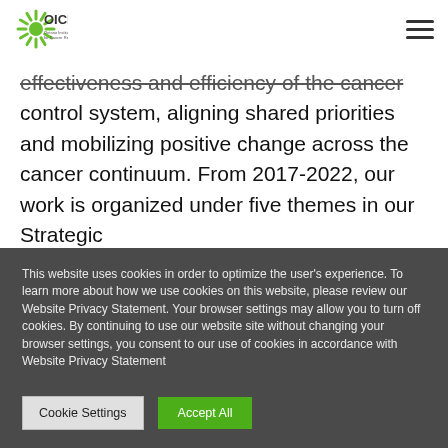OICR — Ontario Institute for Cancer Research
effectiveness and efficiency of the cancer control system, aligning shared priorities and mobilizing positive change across the cancer continuum. From 2017-2022, our work is organized under five themes in our Strategic
This website uses cookies in order to optimize the user's experience. To learn more about how we use cookies on this website, please review our Website Privacy Statement. Your browser settings may allow you to turn off cookies. By continuing to use our website site without changing your browser settings, you consent to our use of cookies in accordance with Website Privacy Statement
Cookie Settings | Accept All